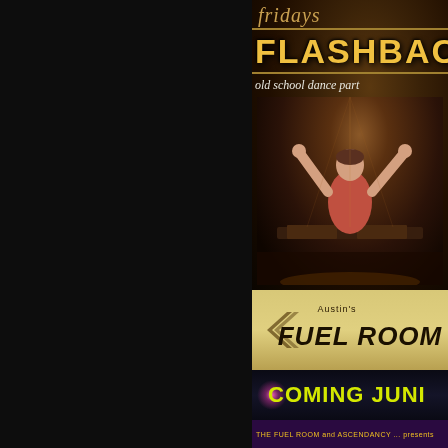fridays
FLASHBACK
old school dance part
[Figure (photo): DJ with arms raised at turntables, crowd in background, concert venue lighting]
[Figure (logo): Austin's Fuel Room logo on gold/tan background with chevron design]
Austin's
FUEL ROOM
COMING JUNE
THE FUEL ROOM and ASCENDANCY ... presents